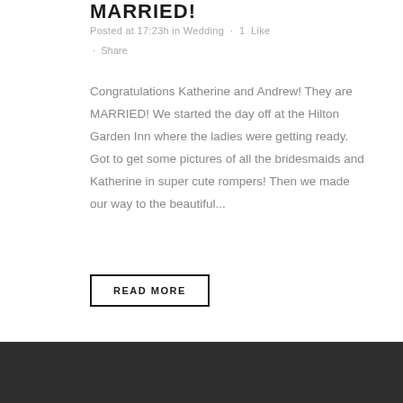MARRIED!
Posted at 17:23h in Wedding · 1 Like · Share
Congratulations Katherine and Andrew! They are MARRIED! We started the day off at the Hilton Garden Inn where the ladies were getting ready. Got to get some pictures of all the bridesmaids and Katherine in super cute rompers! Then we made our way to the beautiful...
READ MORE